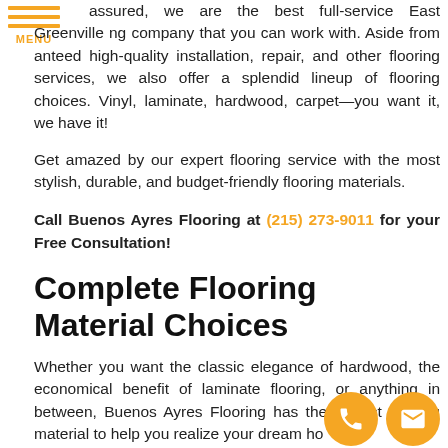[Figure (other): Hamburger menu icon with three orange horizontal bars and 'MENU' text in orange below]
assured, we are the best full-service East Greenville ng company that you can work with. Aside from anteed high-quality installation, repair, and other flooring services, we also offer a splendid lineup of flooring choices. Vinyl, laminate, hardwood, carpet—you want it, we have it!
Get amazed by our expert flooring service with the most stylish, durable, and budget-friendly flooring materials.
Call Buenos Ayres Flooring at (215) 273-9011 for your Free Consultation!
Complete Flooring Material Choices
Whether you want the classic elegance of hardwood, the economical benefit of laminate flooring, or anything in between, Buenos Ayres Flooring has the perfect flooring material to help you realize your dream ho...
[Figure (other): Orange circular button with white phone icon]
[Figure (other): Orange circular button with white envelope/email icon]